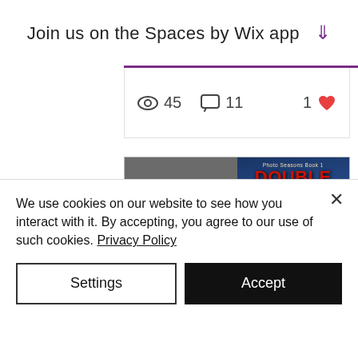Join us on the Spaces by Wix app ↓
45 views  11 comments  1 like
[Figure (illustration): Book promotional image for 'Double Exposure' by Anne Barwell. Left side shows grey background with pink text 'NO ONE WITH A CONNECTION TO THE SUPERNATURAL WORLD IS SAFE' and 'GAY BOOK PROMOTIONS' branding. Right side shows book cover with a young man in a suit, a Mediterranean coastal city background, and the title 'DOUBLE EXPOSURE' in red.]
We use cookies on our website to see how you interact with it. By accepting, you agree to our use of such cookies. Privacy Policy
Settings
Accept